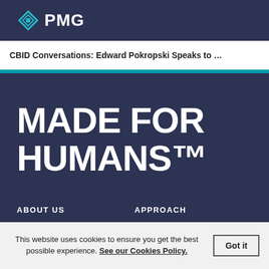[Figure (logo): PMG logo with diamond/eye shaped icon in teal and white, followed by bold white text 'PMG']
CBID Conversations: Edward Pokropski Speaks to …
MADE FOR HUMANS™
ABOUT US
Company
Careers
Inclusivity
APPROACH
Work
Capabilities
Technology
This website uses cookies to ensure you get the best possible experience. See our Cookies Policy.
Got it